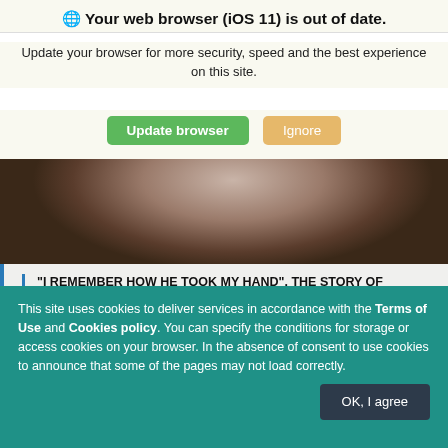🌐 Your web browser (iOS 11) is out of date.
Update your browser for more security, speed and the best experience on this site.
[Figure (photo): Partial photo of an elderly woman's face, looking upward, with blurred background]
"I REMEMBER HOW HE TOOK MY HAND". THE STORY OF RACHELA VAREJES
The story of Rachela Varejes nee Friedman in Jaszuny near Vilnius.
[Figure (photo): Black and white partial portrait photo of a young man]
This site uses cookies to deliver services in accordance with the Terms of Use and Cookies policy. You can specify the conditions for storage or access cookies on your browser. In the absence of consent to use cookies to announce that some of the pages may not load correctly.